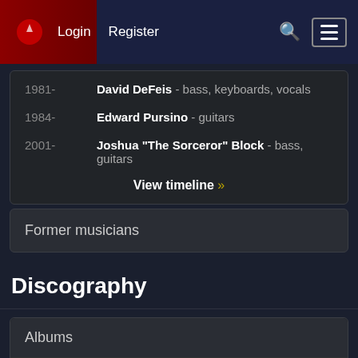Login   Register
1981-   David DeFeis - bass, keyboards, vocals
1984-   Edward Pursino - guitars
2001-   Joshua "The Sorceror" Block - bass, guitars
View timeline »
Former musicians
Discography
Albums
1982   Virgin Steele   6.3